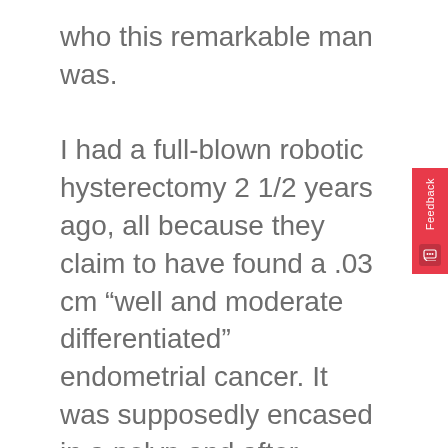who this remarkable man was.

I had a full-blown robotic hysterectomy 2 1/2 years ago, all because they claim to have found a .03 cm “well and moderate differentiated” endometrial cancer. It was supposedly encased in a polyp and after surgery it was written “superficial invasion of uterine muscle”. For this I